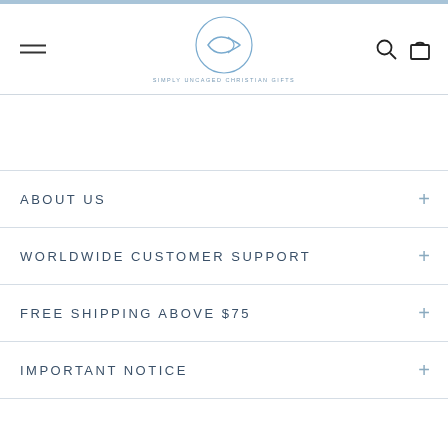Simply Uncaged Christian Gifts - Navigation Header
ABOUT US
WORLDWIDE CUSTOMER SUPPORT
FREE SHIPPING ABOVE $75
IMPORTANT NOTICE